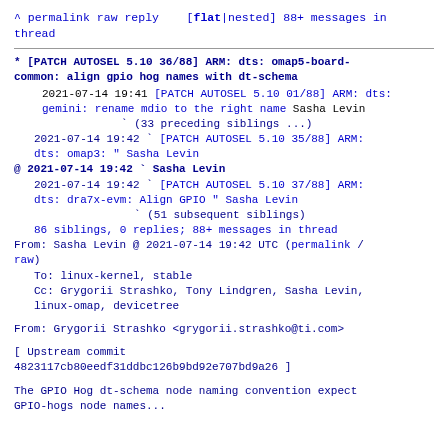^ permalink raw reply    [flat|nested] 88+ messages in thread
* [PATCH AUTOSEL 5.10 36/88] ARM: dts: omap5-board-common: align gpio hog names with dt-schema
2021-07-14 19:41 [PATCH AUTOSEL 5.10 01/88] ARM: dts: gemini: rename mdio to the right name Sasha Levin
                   ` (33 preceding siblings ...)
  2021-07-14 19:42 ` [PATCH AUTOSEL 5.10 35/88] ARM: dts: omap3: " Sasha Levin
@ 2021-07-14 19:42 ` Sasha Levin
  2021-07-14 19:42 ` [PATCH AUTOSEL 5.10 37/88] ARM: dts: dra7x-evm: Align GPIO " Sasha Levin
                     ` (51 subsequent siblings)
  86 siblings, 0 replies; 88+ messages in thread
From: Sasha Levin @ 2021-07-14 19:42 UTC (permalink / raw)
  To: linux-kernel, stable
  Cc: Grygorii Strashko, Tony Lindgren, Sasha Levin, linux-omap, devicetree
From: Grygorii Strashko <grygorii.strashko@ti.com>
[ Upstream commit
4823117cb80eedf31ddbc126b9bd92e707bd9a26 ]
The GPIO Hog dt-schema node naming convention expect GPIO-hogs node names...